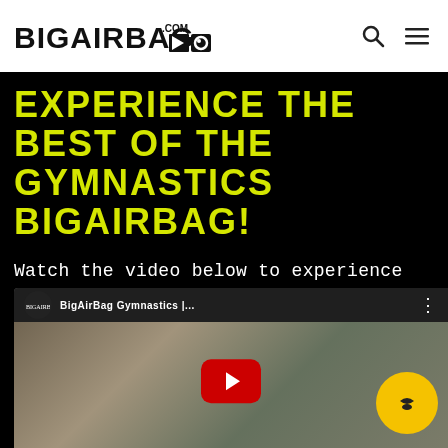BIGAIRBAG.COM [logo]
EXPERIENCE THE BEST OF THE GYMNASTICS BIGAIRBAG!
Watch the video below to experience first-hand what the Gymnastics BigAirBag has to offer!
[Figure (screenshot): YouTube video thumbnail showing BigAirBag Gymnastics video with play button and channel icon]